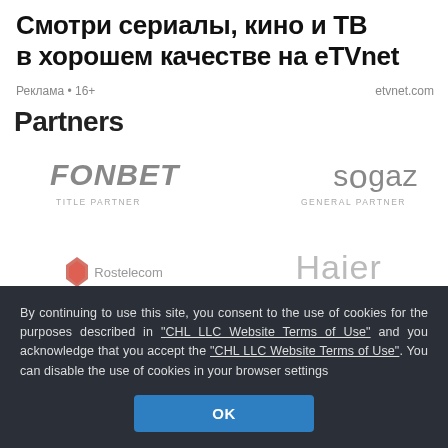Смотри сериалы, кино и ТВ в хорошем качестве на eTVnet
Реклама • 16+
etvnet.com
Partners
[Figure (logo): FONBET logo in italic bold grey text, TITLE PARTNER label below]
[Figure (logo): sogaz logo in grey text, GENERAL PARTNER label below]
[Figure (logo): Rostelecom partial logo with red diamond icon and grey text]
[Figure (logo): Haier partial logo in light grey text]
By continuing to use this site, you consent to the use of cookies for the purposes described in "CHL LLC Website Terms of Use" and you acknowledge that you accept the "CHL LLC Website Terms of Use". You can disable the use of cookies in your browser settings
OK